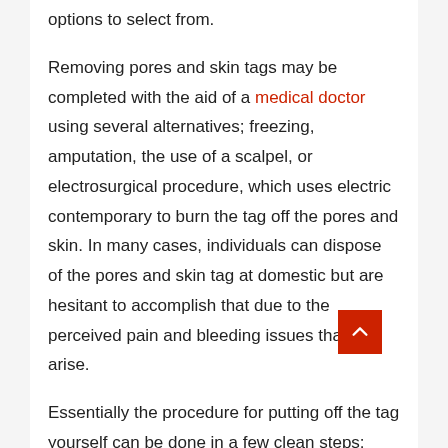options to select from.
Removing pores and skin tags may be completed with the aid of a medical doctor using several alternatives; freezing, amputation, the use of a scalpel, or electrosurgical procedure, which uses electric contemporary to burn the tag off the pores and skin. In many cases, individuals can dispose of the pores and skin tag at domestic but are hesitant to accomplish that due to the perceived pain and bleeding issues that can arise.
Essentially the procedure for putting off the tag yourself can be done in a few clean steps:
Tie dental floss around the bottom of the pores and skin tag. You may have to pull it away from the body to get at